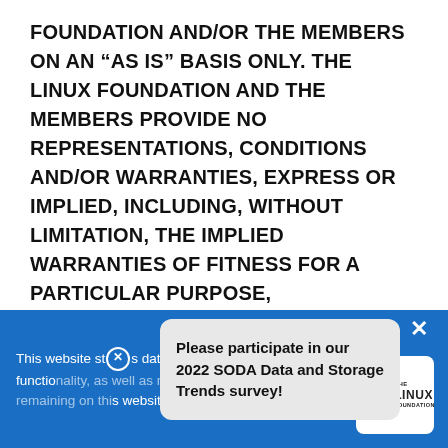FOUNDATION AND/OR THE MEMBERS ON AN “AS IS” BASIS ONLY. THE LINUX FOUNDATION AND THE MEMBERS PROVIDE NO REPRESENTATIONS, CONDITIONS AND/OR WARRANTIES, EXPRESS OR IMPLIED, INCLUDING, WITHOUT LIMITATION, THE IMPLIED WARRANTIES OF FITNESS FOR A PARTICULAR PURPOSE, MERCHANTABILITY AND NONINFRINGEMENT.
The Linux Foundation and the Members reserve the right to investigate complaints or reported violations of these Terms of Use and to take any
This website stores data such as cookies to enable essential site functionality, as well as marketing, personalization, and analytics. By remaining on this website you indicate your consent. Privacy Policy
Please participate in our 2022 SODA Data and Storage Trends survey!
[Figure (logo): The Linux Foundation logo: a square icon next to 'THE LINUX FOUNDATION' text]